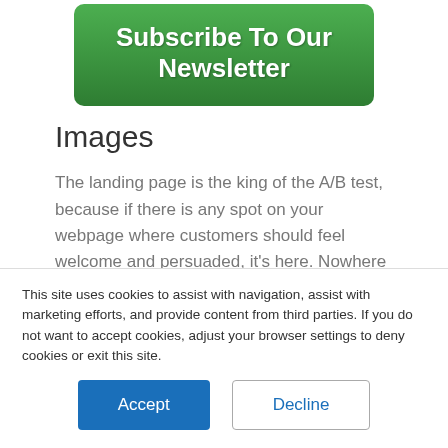[Figure (other): Green rounded button with text 'Subscribe To Our Newsletter']
Images
The landing page is the king of the A/B test, because if there is any spot on your webpage where customers should feel welcome and persuaded, it's here. Nowhere is more important to work out a better conversion rate than on the page where prospective
This site uses cookies to assist with navigation, assist with marketing efforts, and provide content from third parties. If you do not want to accept cookies, adjust your browser settings to deny cookies or exit this site.